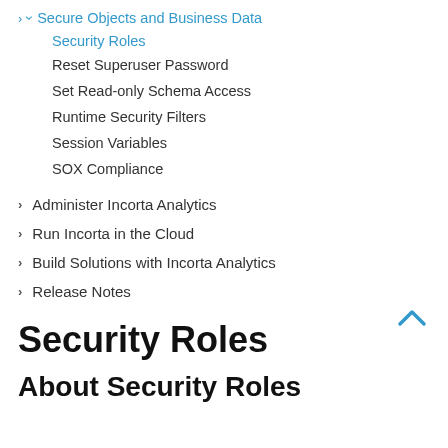▾ Secure Objects and Business Data
Security Roles
Reset Superuser Password
Set Read-only Schema Access
Runtime Security Filters
Session Variables
SOX Compliance
> Administer Incorta Analytics
> Run Incorta in the Cloud
> Build Solutions with Incorta Analytics
> Release Notes
Security Roles
About Security Roles